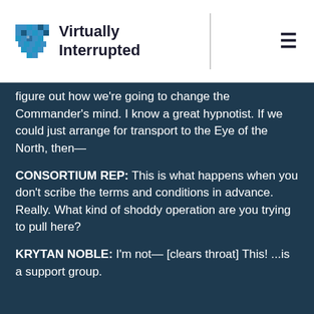Virtually Interrupted
figure out how we're going to change the Commander's mind. I know a great hypnotist. If we could just arrange for transport to the Eye of the North, then—
CONSORTIUM REP: This is what happens when you don't scribe the terms and conditions in advance. Really. What kind of shoddy operation are you trying to pull here?
KRYTAN NOBLE: I'm not— [clears throat] This! ...is a support group.